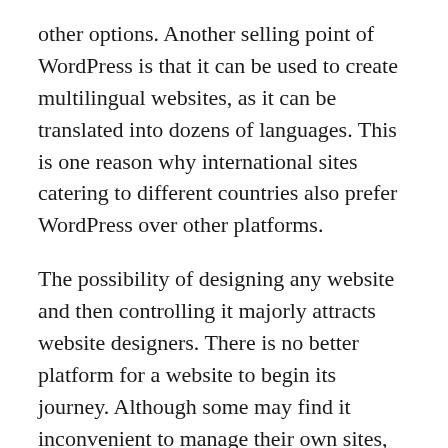other options. Another selling point of WordPress is that it can be used to create multilingual websites, as it can be translated into dozens of languages. This is one reason why international sites catering to different countries also prefer WordPress over other platforms.
The possibility of designing any website and then controlling it majorly attracts website designers. There is no better platform for a website to begin its journey. Although some may find it inconvenient to manage their own sites, along with all its updates and backups. If you use WordPress, you will have to keep up with the ever-evolving platform since they keep introducing new features, WordPress themes